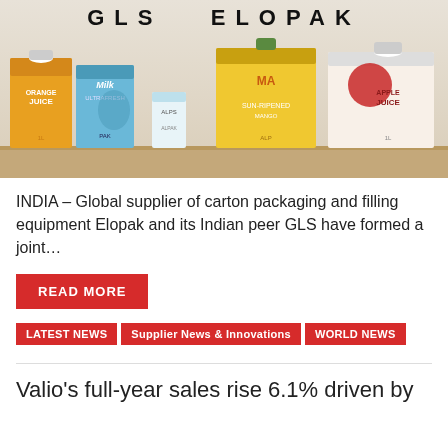[Figure (photo): Photo of GLS and Elopak branded carton packaging products (orange juice, milk, mango, apple juice, and other cartons) arranged on a wooden surface, with 'GLS ELOPAK' text displayed prominently at the top of the image.]
INDIA – Global supplier of carton packaging and filling equipment Elopak and its Indian peer GLS have formed a joint…
READ MORE
LATEST NEWS   Supplier News & Innovations   WORLD NEWS
Valio's full-year sales rise 6.1% driven by